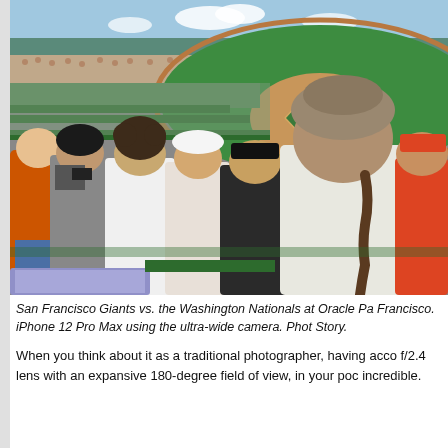[Figure (photo): Aerial view from the stands of a baseball game at Oracle Park, San Francisco. Fans are seated in green stadium seats in the foreground, watching the game below. The field, scoreboard, and packed stadium are visible in the background under a partly cloudy sky.]
San Francisco Giants vs. the Washington Nationals at Oracle Park in San Francisco. iPhone 12 Pro Max using the ultra-wide camera. Photo by Story.
When you think about it as a traditional photographer, having access to a f/2.4 lens with an expansive 180-degree field of view, in your pocket, is incredible.